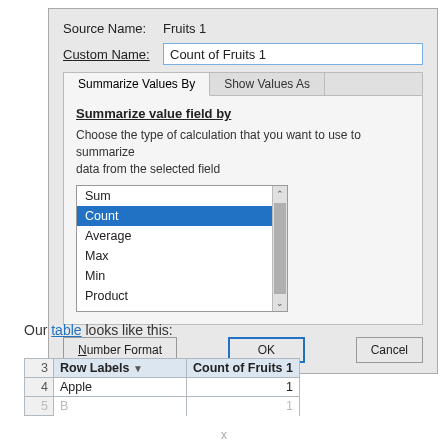[Figure (screenshot): Excel 'Value Field Settings' dialog box showing Source Name: Fruits 1, Custom Name field with 'Count of Fruits 1', tabs for 'Summarize Values By' and 'Show Values As', a listbox with Sum, Count (selected), Average, Max, Min, Product, and buttons for Number Format, OK, Cancel.]
Our table looks like this:
|  | Row Labels | Count of Fruits 1 |
| --- | --- | --- |
| 3 | Row Labels ▼ | Count of Fruits 1 |
| 4 | Apple | 1 |
| 5 | B... | 1 |
x